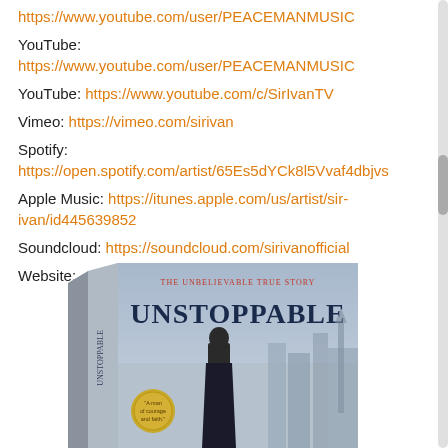YouTube: https://www.youtube.com/user/PEACEMANMUSIC
YouTube: https://www.youtube.com/c/SirIvanTV
Vimeo: https://vimeo.com/sirivan
Spotify: https://open.spotify.com/artist/65Es5dYCk8l5Vvaf4dbjvs
Apple Music: https://itunes.apple.com/us/artist/sir-ivan/id445639852
Soundcloud: https://soundcloud.com/sirivanofficial
Website:
[Figure (photo): Book cover for 'Unstoppable - The Unbelievable True Story' shown as a 3D book tilted slightly, with dark blue title text on a light cover, subtitle text above, a person in historical dress in the center, and a gold medallion in the lower left.]